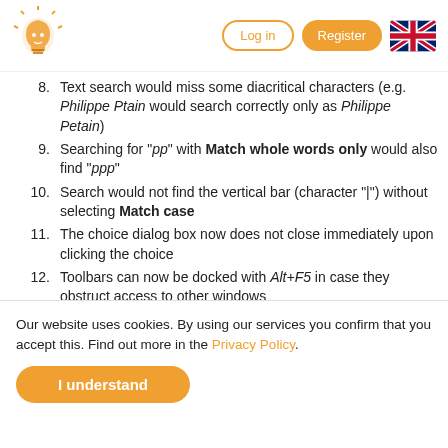Log in | Register
8. Text search would miss some diacritical characters (e.g. Philippe Ptain would search correctly only as Philippe Petain)
9. Searching for "pp" with Match whole words only would also find "ppp"
10. Search would not find the vertical bar (character "|") without selecting Match case
11. The choice dialog box now does not close immediately upon clicking the choice
12. Toolbars can now be docked with Alt+F5 in case they obstruct access to other windows
13. Reference labels no longer insert the <br> tag, nor do e-mail forwards
Our website uses cookies. By using our services you confirm that you accept this. Find out more in the Privacy Policy.